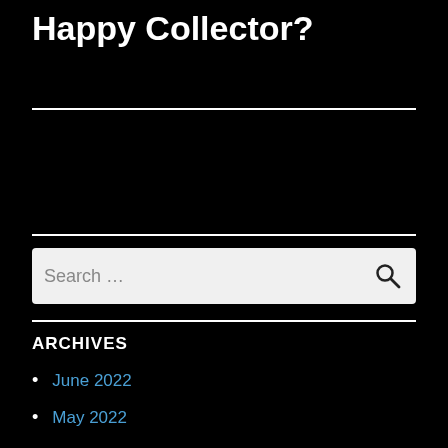Happy Collector?
Search ...
ARCHIVES
June 2022
May 2022